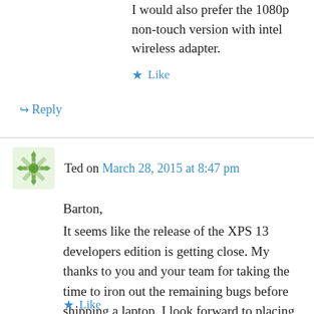I would also prefer the 1080p non-touch version with intel wireless adapter.
★ Like
↪ Reply
Ted on March 28, 2015 at 8:47 pm
Barton,
It seems like the release of the XPS 13 developers edition is getting close. My thanks to you and your team for taking the time to iron out the remaining bugs before shipping a laptop. I look forward to placing my order as soon as it is available on Dell's USA website.
★ Like